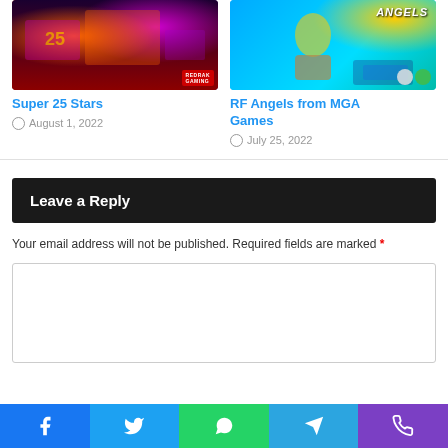[Figure (screenshot): Screenshot of slot machine game Super 25 Stars on multiple devices with red/purple background and RedRak Gaming logo]
Super 25 Stars
August 1, 2022
[Figure (screenshot): Screenshot of RF Angels from MGA Games showing animated characters on cyan/blue background with Angels logo]
RF Angels from MGA Games
July 25, 2022
Leave a Reply
Your email address will not be published. Required fields are marked *